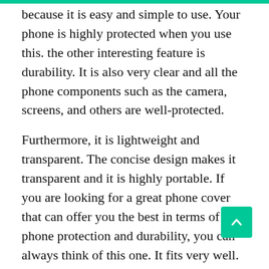because it is easy and simple to use. Your phone is highly protected when you use this. the other interesting feature is durability. It is also very clear and all the phone components such as the camera, screens, and others are well-protected.

Furthermore, it is lightweight and transparent. The concise design makes it transparent and it is highly portable. If you are looking for a great phone cover that can offer you the best in terms of phone protection and durability, you can always think of this one. It fits very well. It makes the list because of the quality design.
READ ALSO:  Top 10 Best Shortwave Radios in 2021 Reviews